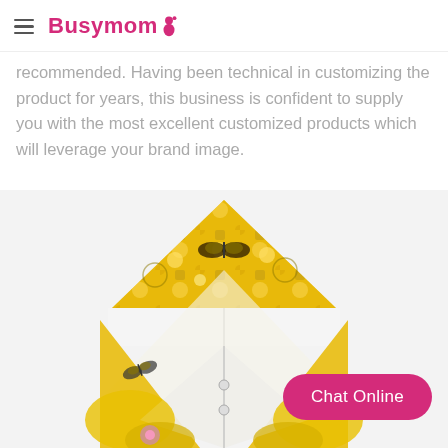Busymom
recommended. Having been technical in customizing the product for years, this business is confident to supply you with the most excellent customized products which will leverage your brand image.
[Figure (photo): A hooded baby swaddle/blanket with a yellow floral and butterfly print fabric on the outside and white lining on the inside, laid flat and open showing the hood at the top.]
Chat Online